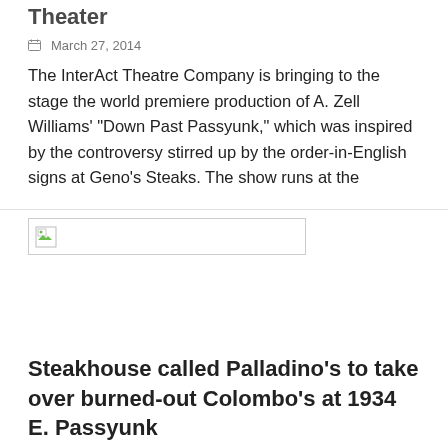Theater
March 27, 2014
The InterAct Theatre Company is bringing to the stage the world premiere production of A. Zell Williams' “Down Past Passyunk,” which was inspired by the controversy stirred up by the order-in-English signs at Geno’s Steaks. The show runs at the
[Figure (photo): Broken/missing image placeholder with small green icon in top-left corner]
Steakhouse called Palladino’s to take over burned-out Colombo’s at 1934 E. Passyunk